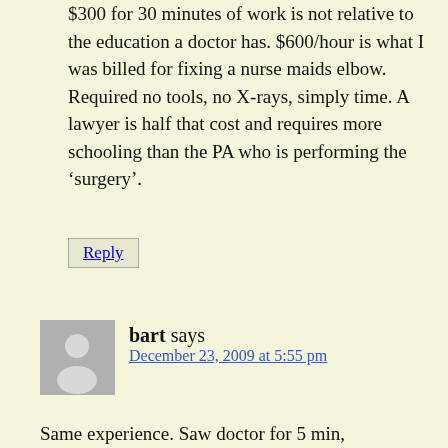$300 for 30 minutes of work is not relative to the education a doctor has. $600/hour is what I was billed for fixing a nurse maids elbow. Required no tools, no X-rays, simply time. A lawyer is half that cost and requires more schooling than the PA who is performing the ‘surgery’.
Reply
bart says December 23, 2009 at 5:55 pm
Same experience. Saw doctor for 5 min, INCLUDING Q and A. Got a bill for $387.00. they won’t budge. Problem is we asked what it would cost and they told us it would be a normal doctor visit because the procedure was incredibly common and